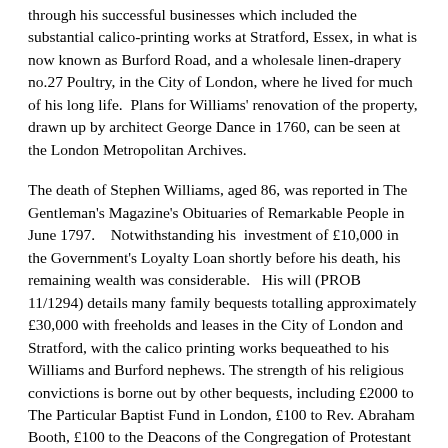through his successful businesses which included the substantial calico-printing works at Stratford, Essex, in what is now known as Burford Road, and a wholesale linen-drapery no.27 Poultry, in the City of London, where he lived for much of his long life.  Plans for Williams' renovation of the property, drawn up by architect George Dance in 1760, can be seen at the London Metropolitan Archives.
The death of Stephen Williams, aged 86, was reported in The Gentleman's Magazine's Obituaries of Remarkable People in June 1797.   Notwithstanding his  investment of £10,000 in the Government's Loyalty Loan shortly before his death, his remaining wealth was considerable.   His will (PROB  11/1294) details many family bequests totalling approximately £30,000 with freeholds and leases in the City of London and Stratford, with the calico printing works bequeathed to his Williams and Burford nephews. The strength of his religious convictions is borne out by other bequests, including £2000 to The Particular Baptist Fund in London, £100 to Rev. Abraham Booth, £100 to the Deacons of the Congregation of Protestant Dissenters for use among the poorer members of the church, £200 to the Widows' Fund for the relief of the widows of poor dissenting ministers, £100 to the Congregational or Independent Fund in London and £200 to the Orphan Charity School, City Road, Islington.
He was buried at Bunhill Fields on 17th June 1797, at a cost of £5